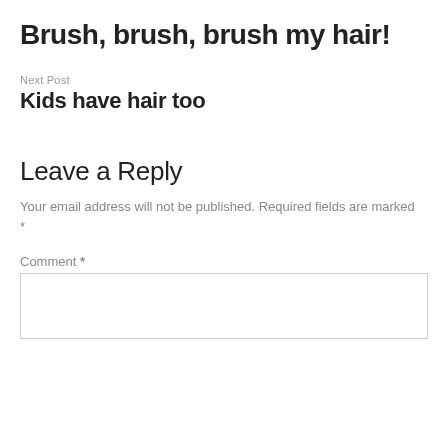Brush, brush, brush my hair!
Next Post
Kids have hair too
Leave a Reply
Your email address will not be published. Required fields are marked *
Comment *